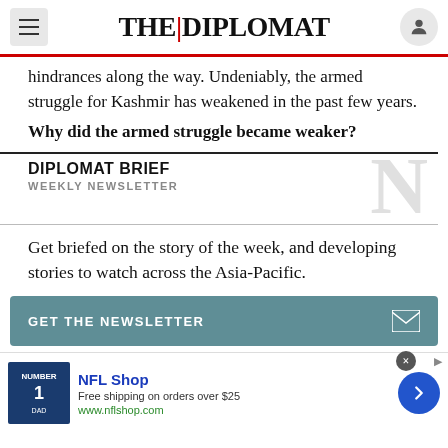THE DIPLOMAT
hindrances along the way. Undeniably, the armed struggle for Kashmir has weakened in the past few years.
Why did the armed struggle became weaker?
DIPLOMAT BRIEF
WEEKLY NEWSLETTER
Get briefed on the story of the week, and developing stories to watch across the Asia-Pacific.
GET THE NEWSLETTER
[Figure (infographic): NFL Shop advertisement banner with jersey image, shop name, free shipping offer, and website URL www.nflshop.com]